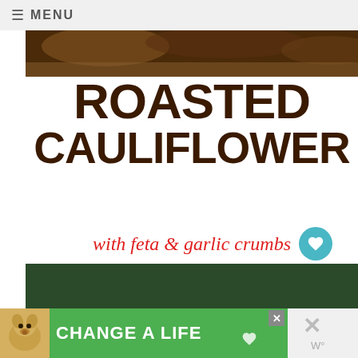≡ MENU
[Figure (photo): Top partial food photo strip (dark colored food in pan, top of image)]
ROASTED CAULIFLOWER
with feta & garlic crumbs
[Figure (photo): Close-up photo of roasted cauliflower with feta and garlic crumbs on a plate, green herbs visible, TidyMom.net watermark, 873 shares shown]
TidyMom.net
WHAT'S NEXT → SPICY TORTILLA...
[Figure (photo): CHANGE A LIFE advertisement banner with dog photo on green background]